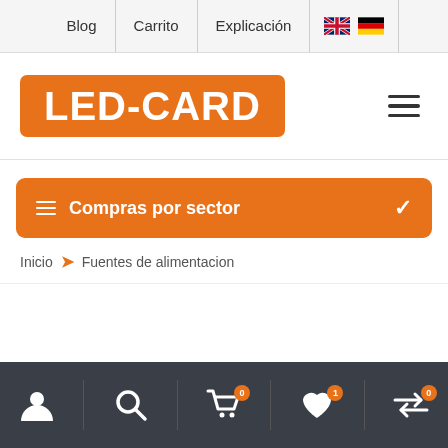Blog | Carrito | Explicación
[Figure (logo): LED-CARD logo in white text on orange rounded rectangle background]
Compras por sector
Inicio > Fuentes de alimentacion